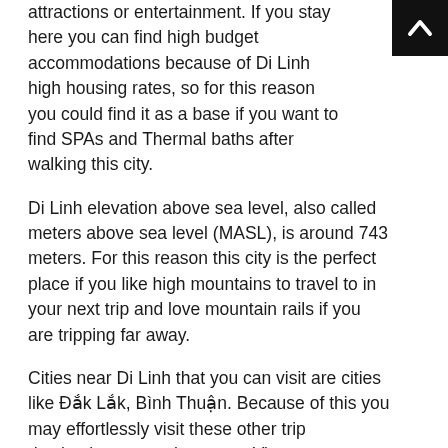attractions or entertainment. If you stay here you can find high budget accommodations because of Di Linh high housing rates, so for this reason you could find it as a base if you want to find SPAs and Thermal baths after walking this city.
Di Linh elevation above sea level, also called meters above sea level (MASL), is around 743 meters. For this reason this city is the perfect place if you like high mountains to travel to in your next trip and love mountain rails if you are tripping far away.
Cities near Di Linh that you can visit are cities like Đắk Lắk, Bình Thuận. Because of this you may effortlessly visit these other trip destinations to explore more Vietnam.
If you are searching for info on Di Linh have a look at its official website http://www.lamdong.gov.vn.
Di Linh things to do and activities: best trip destination